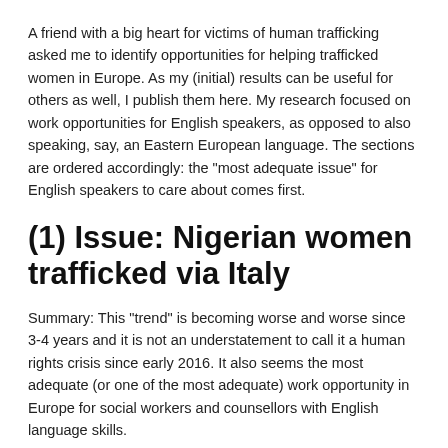A friend with a big heart for victims of human trafficking asked me to identify opportunities for helping trafficked women in Europe. As my (initial) results can be useful for others as well, I publish them here. My research focused on work opportunities for English speakers, as opposed to also speaking, say, an Eastern European language. The sections are ordered accordingly: the "most adequate issue" for English speakers to care about comes first.
(1) Issue: Nigerian women trafficked via Italy
Summary: This "trend" is becoming worse and worse since 3-4 years and it is not an understatement to call it a human rights crisis since early 2016. It also seems the most adequate (or one of the most adequate) work opportunity in Europe for social workers and counsellors with English language skills.
The Guardian has a good, recent introduction to the problem, complemented with a little photo documentary. According to that, 11,000 Nigerian women arrived to Italy in 2016, which is double